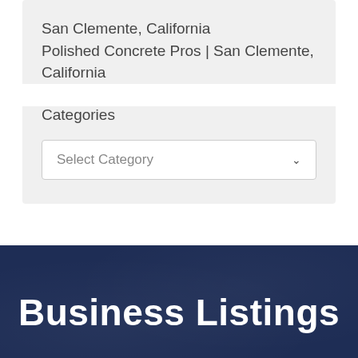San Clemente, California
Polished Concrete Pros | San Clemente, California
Categories
Select Category
Business Listings